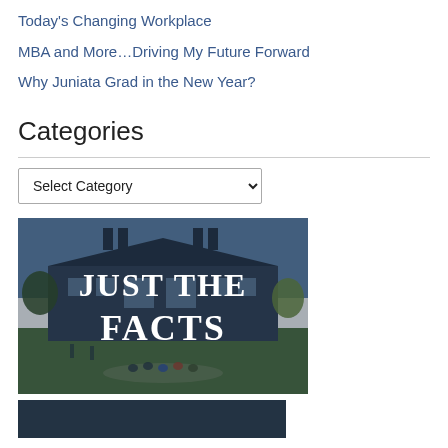Today's Changing Workplace
MBA and More…Driving My Future Forward
Why Juniata Grad in the New Year?
Categories
Select Category (dropdown)
[Figure (photo): Campus photo with students on lawn in front of a brick building with blue sky. Overlaid white text reads JUST THE FACTS.]
[Figure (photo): Partially visible image at bottom of page.]